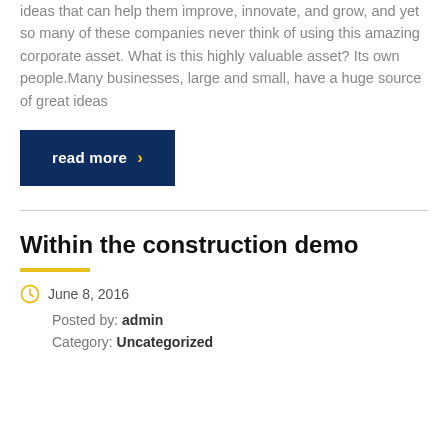ideas that can help them improve, innovate, and grow, and yet so many of these companies never think of using this amazing corporate asset. What is this highly valuable asset? Its own people.Many businesses, large and small, have a huge source of great ideas
read more ›
Within the construction demo
June 8, 2016
Posted by: admin
Category: Uncategorized